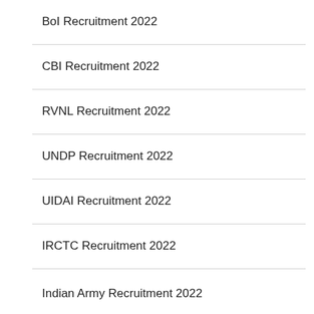BoI Recruitment 2022
CBI Recruitment 2022
RVNL Recruitment 2022
UNDP Recruitment 2022
UIDAI Recruitment 2022
IRCTC Recruitment 2022
Indian Army Recruitment 2022